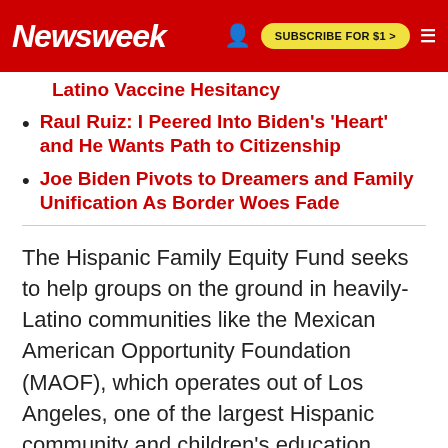Newsweek | SUBSCRIBE FOR $1 >
Latino Vaccine Hesitancy
Raul Ruiz: I Peered Into Biden's 'Heart' and He Wants Path to Citizenship
Joe Biden Pivots to Dreamers and Family Unification As Border Woes Fade
The Hispanic Family Equity Fund seeks to help groups on the ground in heavily-Latino communities like the Mexican American Opportunity Foundation (MAOF), which operates out of Los Angeles, one of the largest Hispanic community and children's education